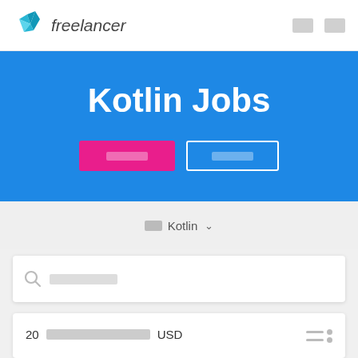freelancer
Kotlin Jobs
[Figure (screenshot): Two buttons: a pink filled button and a white outlined button, both with redacted text labels]
■■ Kotlin ∨
[Figure (screenshot): Search box with magnifying glass icon and redacted placeholder text]
20 ■■■■■■■■■■■■■■■■ USD